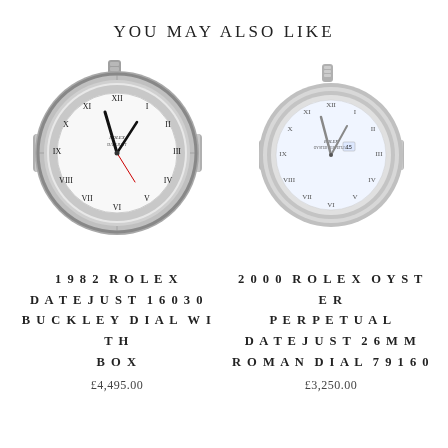YOU MAY ALSO LIKE
[Figure (photo): 1982 Rolex Datejust 16030 with fluted bezel, white Roman dial, and jubilee bracelet, silver/steel]
1982 ROLEX DATEJUST 16030 BUCKLEY DIAL WITH BOX
£4,495.00
[Figure (photo): 2000 Rolex Oyster Perpetual Datejust 26mm with smooth bezel, white Roman dial, and oyster bracelet, silver/steel]
2000 ROLEX OYSTER PERPETUAL DATEJUST 26MM ROMAN DIAL 79160
£3,250.00